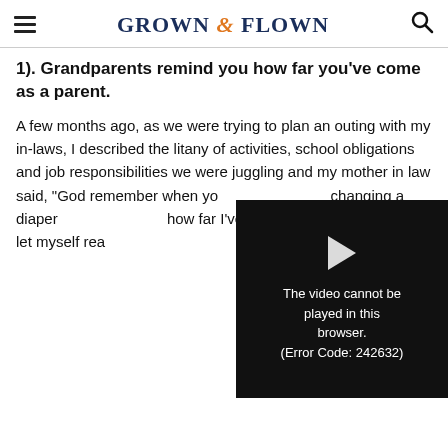GROWN & FLOWN
1). Grandparents remind you how far you've come as a parent.
A few months ago, as we were trying to plan an outing with my in-laws, I described the litany of activities, school obligations and job responsibilities we were juggling and my mother in law said, "God remember when yo... changing a diaper f... how far I've come a... often let myself rea...
[Figure (screenshot): Video player overlay showing error message: 'The video cannot be played in this browser. (Error Code: 242632)']
2). Grandparents help you see that some behavior is actually genetic.